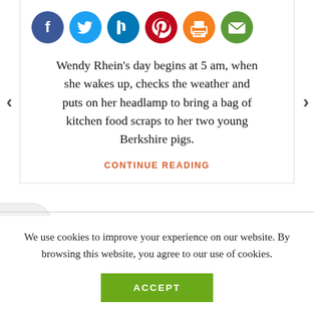[Figure (other): Social media share icons: Facebook (blue), Twitter (blue), LinkedIn (blue), Pinterest (red), Print (orange), Email (green)]
Wendy Rhein's day begins at 5 am, when she wakes up, checks the weather and puts on her headlamp to bring a bag of kitchen food scraps to her two young Berkshire pigs.
CONTINUE READING
We use cookies to improve your experience on our website. By browsing this website, you agree to our use of cookies.
ACCEPT